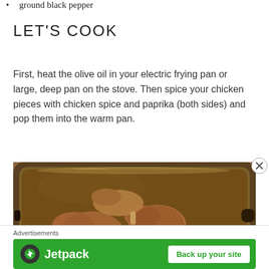ground black pepper
LET'S COOK
First, heat the olive oil in your electric frying pan or large, deep pan on the stove. Then spice your chicken pieces with chicken spice and paprika (both sides) and pop them into the warm pan.
[Figure (photo): Raw chicken drumsticks dusted with spices in a large metal roasting pan/electric frying pan, viewed from above.]
Advertisements
[Figure (other): Jetpack advertisement banner with green background, Jetpack logo on left and 'Back up your site' button on right.]